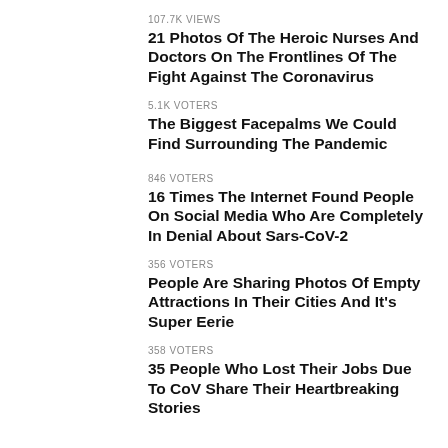107.7K VIEWS
21 Photos Of The Heroic Nurses And Doctors On The Frontlines Of The Fight Against The Coronavirus
5.1K VOTERS
The Biggest Facepalms We Could Find Surrounding The Pandemic
846 VOTERS
16 Times The Internet Found People On Social Media Who Are Completely In Denial About Sars-CoV-2
356 VOTERS
People Are Sharing Photos Of Empty Attractions In Their Cities And It's Super Eerie
358 VOTERS
35 People Who Lost Their Jobs Due To CoV Share Their Heartbreaking Stories